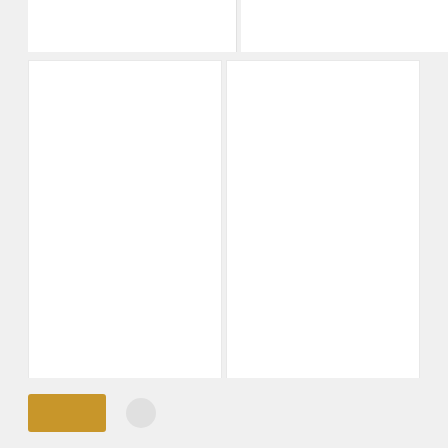[Figure (other): Partial product card top - left, white background, no visible content]
[Figure (other): Partial product card top - right, white background, no visible content]
Oud Sentana Dalem II
$50.00 – $250.00
Barat Laut Oud
$370.00